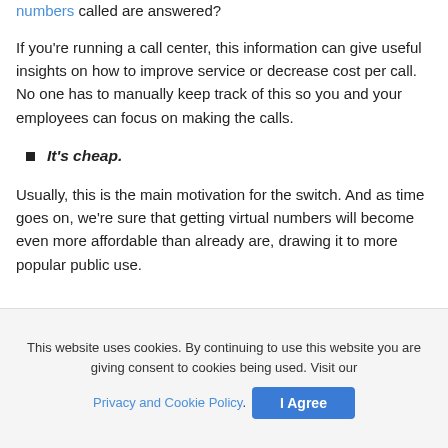numbers called are answered?
If you're running a call center, this information can give useful insights on how to improve service or decrease cost per call. No one has to manually keep track of this so you and your employees can focus on making the calls.
It's cheap.
Usually, this is the main motivation for the switch. And as time goes on, we're sure that getting virtual numbers will become even more affordable than already are, drawing it to more popular public use.
This website uses cookies. By continuing to use this website you are giving consent to cookies being used. Visit our Privacy and Cookie Policy. I Agree